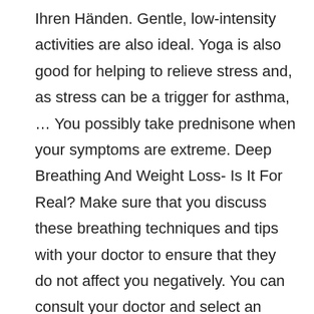Ihren Händen. Gentle, low-intensity activities are also ideal. Yoga is also good for helping to relieve stress and, as stress can be a trigger for asthma, … You possibly take prednisone when your symptoms are extreme. Deep Breathing And Weight Loss- Is It For Real? Make sure that you discuss these breathing techniques and tips with your doctor to ensure that they do not affect you negatively. You can consult your doctor and select an exercise that best suits your condition. Face your asthma anxieties . Rather than breathing deeply, he found that this breathing method works better in reducing asthma and its symptoms. Let's take a look at the brain processes behind it. Breathing Exercises. Overall, ACT scores improved significantly (p = 0.002) with a statistically non-significant improvement in AQLQ scores. Should I visit a doctor? Moreover, many of these are a rich source of